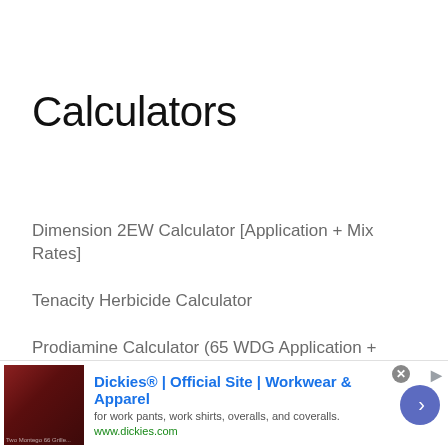Calculators
Dimension 2EW Calculator [Application + Mix Rates]
Tenacity Herbicide Calculator
Prodiamine Calculator (65 WDG Application + Mixing Rates)
Nitrogen Fertilizer Calculator
[Figure (infographic): Advertisement banner for Dickies workwear. Shows product image on left (dark red/brown furniture), Dickies logo and tagline 'Official Site | Workwear & Apparel', subtitle 'for work pants, work shirts, overalls, and coveralls.', URL 'www.dickies.com', a blue circular arrow button, and a close (X) button.]